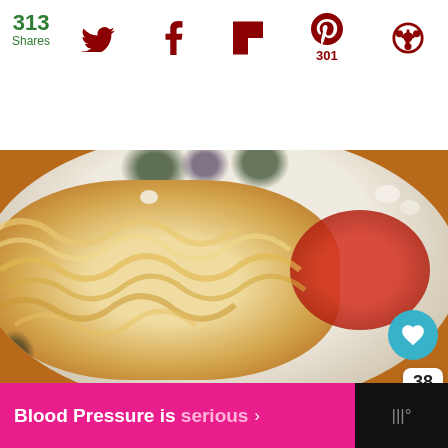313 Shares — social share bar with Twitter, Facebook, Flipboard, Pinterest (301), and another icon
[Figure (photo): Close-up photo of a plate of homemade pasta with tomato sauce on a decorative plate with artichoke pattern, on a wooden table. Overlay UI elements include a teal heart button, like count '38', a share button, and a 'WHAT'S NEXT' card showing 'Grandma's Italian Style...']
WHAT'S NEXT → Grandma's Italian Style...
Blood Pressure is serious →